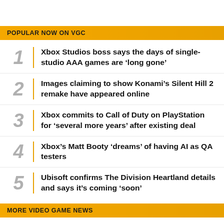POPULAR NOW ON VGC
1 Xbox Studios boss says the days of single-studio AAA games are ‘long gone’
2 Images claiming to show Konami’s Silent Hill 2 remake have appeared online
3 Xbox commits to Call of Duty on PlayStation for ‘several more years’ after existing deal
4 Xbox’s Matt Booty ‘dreams’ of having AI as QA testers
5 Ubisoft confirms The Division Heartland details and says it’s coming ‘soon’
MORE VIDEO GAME NEWS